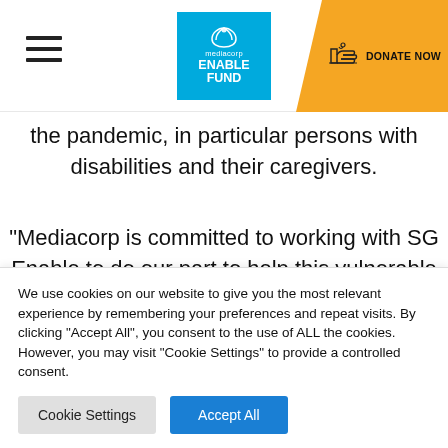[Figure (logo): Mediacorp Enable Fund logo — blue square with leaf icon and white text]
the pandemic, in particular persons with disabilities and their caregivers.
“Mediacorp is committed to working with SG Enable to do our part to help this vulnerable group by leveraging our media network as well as
We use cookies on our website to give you the most relevant experience by remembering your preferences and repeat visits. By clicking “Accept All”, you consent to the use of ALL the cookies. However, you may visit "Cookie Settings" to provide a controlled consent.